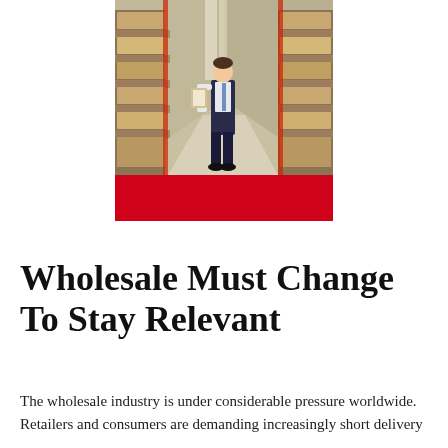[Figure (photo): A man in business attire holding a clipboard standing in a large warehouse aisle with tall shelving units stacked with boxes on both sides, with a red banner/bar at the bottom of the image.]
Wholesale Must Change To Stay Relevant
The wholesale industry is under considerable pressure worldwide. Retailers and consumers are demanding increasingly short delivery